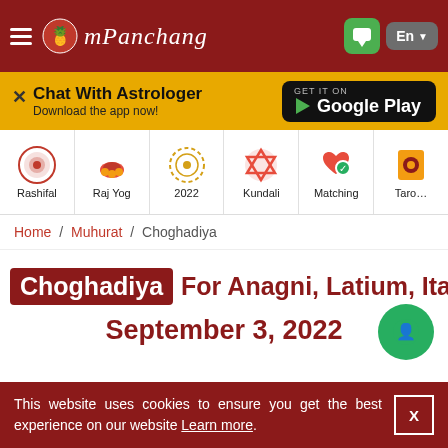mPanchang
[Figure (screenshot): Yellow promotional banner: Chat With Astrologer - Download the app now! with Google Play button]
[Figure (infographic): Navigation icons row: Rashifal, Raj Yog, 2022, Kundali, Matching, Tarot]
Home / Muhurat / Choghadiya
Choghadiya For Anagni, Latium, Italy
September 3, 2022
This website uses cookies to ensure you get the best experience on our website Learn more. X